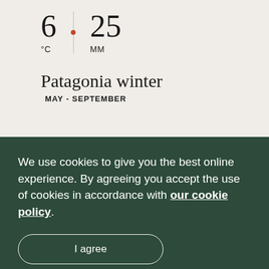[Figure (infographic): Climate stats showing 6°C temperature and 25MM precipitation with a vertical dotted divider line and orange diamond marker between them]
Patagonia winter
MAY - SEPTEMBER
We use cookies to give you the best online experience. By agreeing you accept the use of cookies in accordance with our cookie policy.
I agree